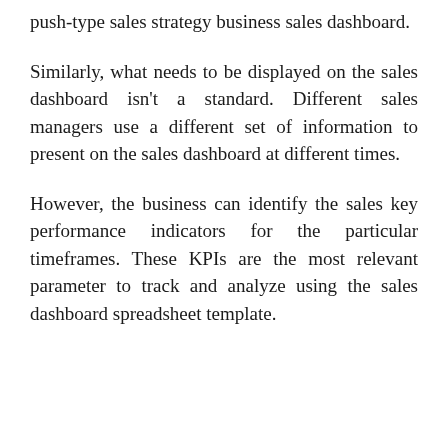push-type sales strategy business sales dashboard.
Similarly, what needs to be displayed on the sales dashboard isn't a standard. Different sales managers use a different set of information to present on the sales dashboard at different times.
However, the business can identify the sales key performance indicators for the particular timeframes. These KPIs are the most relevant parameter to track and analyze using the sales dashboard spreadsheet template.